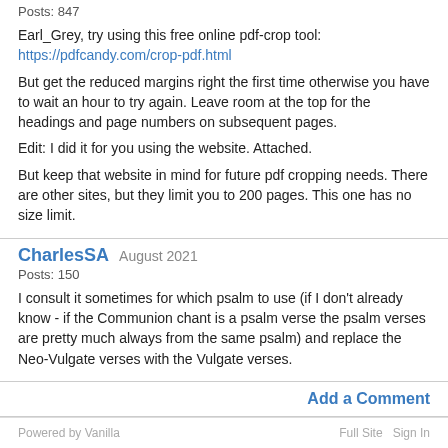Posts: 847
Earl_Grey, try using this free online pdf-crop tool:
https://pdfcandy.com/crop-pdf.html
But get the reduced margins right the first time otherwise you have to wait an hour to try again. Leave room at the top for the headings and page numbers on subsequent pages.
Edit: I did it for you using the website. Attached.
But keep that website in mind for future pdf cropping needs. There are other sites, but they limit you to 200 pages. This one has no size limit.
CharlesSA  August 2021
Posts: 150
I consult it sometimes for which psalm to use (if I don't already know - if the Communion chant is a psalm verse the psalm verses are pretty much always from the same psalm) and replace the Neo-Vulgate verses with the Vulgate verses.
Add a Comment
Powered by Vanilla    Full Site  Sign In